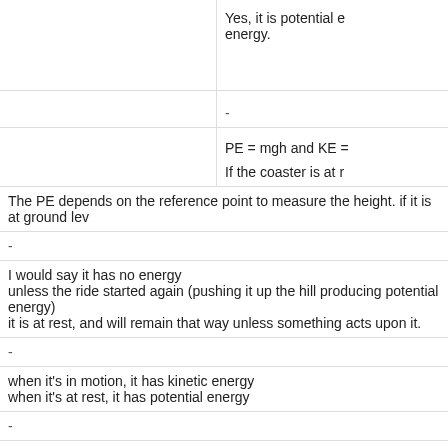Yes, it is potential energy.
-
PE = mgh and KE =
If the coaster is at r
The PE depends on the reference point to measure the height. if it is at ground lev
-
I would say it has no energy
unless the ride started again (pushing it up the hill producing potential energy)
it is at rest, and will remain that way unless something acts upon it.
-
when it's in motion, it has kinetic energy
when it's at rest, it has potential energy
-
the rollercoaster has potential energy when at rest and kinetic when in motion